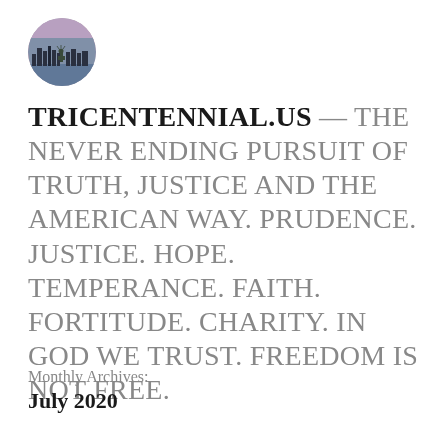[Figure (logo): Circular logo showing the Statue of Liberty and New York City skyline at dusk with purple/blue sky tones]
TRICENTENNIAL.US — THE NEVER ENDING PURSUIT OF TRUTH, JUSTICE AND THE AMERICAN WAY. PRUDENCE. JUSTICE. HOPE. TEMPERANCE. FAITH. FORTITUDE. CHARITY. IN GOD WE TRUST. FREEDOM IS NOT FREE.
Monthly Archives:
July 2020